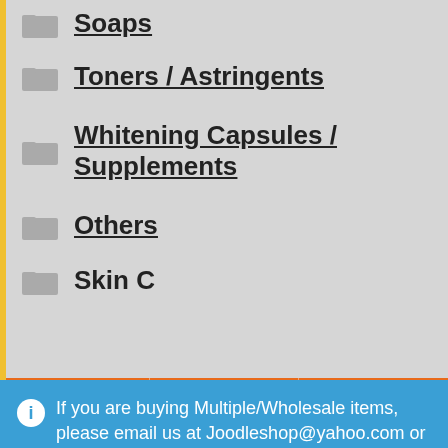Soaps
Toners / Astringents
Whitening Capsules / Supplements
Others
If you are buying Multiple/Wholesale items, please email us at Joodleshop@yahoo.com or text us at Whatsapp or Viber +63916 5314794 and we will make Combination Sets for you. We accept Direct Credit Card and Debit Card payments upon Check-out
Dismiss